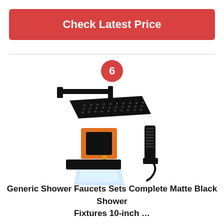Check Latest Price
[Figure (photo): Black matte shower faucet set showing shower head with wall mount arm, valve body with orange rough-in valve, handheld shower head with hose, and waterfall bathtub spout]
Generic Shower Faucets Sets Complete Matte Black Shower Fixtures 10-inch …